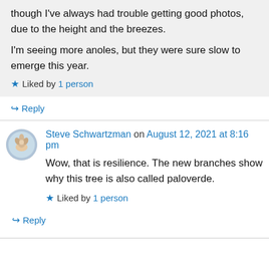though I've always had trouble getting good photos, due to the height and the breezes.

I'm seeing more anoles, but they were sure slow to emerge this year.
Liked by 1 person
Reply
Steve Schwartzman on August 12, 2021 at 8:16 pm
Wow, that is resilience. The new branches show why this tree is also called paloverde.
Liked by 1 person
Reply